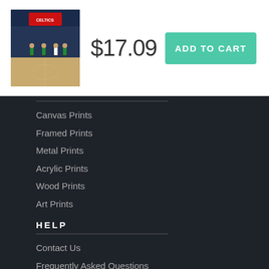[Figure (photo): Basketball game scene with players on court, indoor arena]
$17.09
ADD TO CART
Canvas Prints
Framed Prints
Metal Prints
Acrylic Prints
Wood Prints
Art Prints
HELP
Contact Us
Frequently Asked Questions
Return Policy
Returns
Terms of Use
Privacy Policy
LOCATION SETTINGS
Houston, TX (United States)
Currency: USD ($)